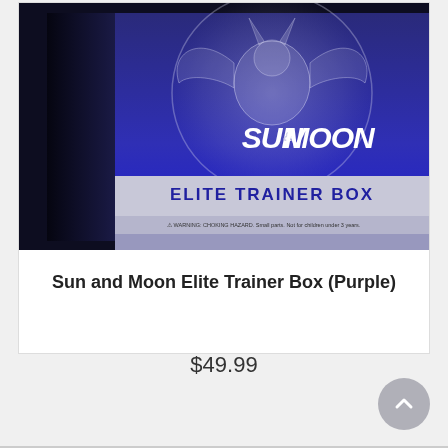[Figure (photo): Sun and Moon Elite Trainer Box (Purple) product photo showing the box with Lunala on a dark purple background with a silver/grey stripe along the bottom reading ELITE TRAINER BOX]
Sun and Moon Elite Trainer Box (Purple)
$49.99